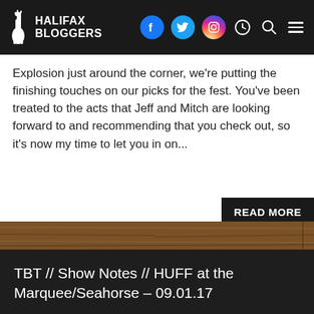HALIFAX BLOGGERS
Explosion just around the corner, we're putting the finishing touches on our picks for the fest. You've been treated to the acts that Jeff and Mitch are looking forward to and recommending that you check out, so it's now my time to let you in on...
READ MORE
[Figure (photo): Wooden bar/stage surface divider]
TBT // Show Notes // HUFF at the Marquee/Seahorse – 09.01.17
[Figure (photo): Concert photo showing two performers on stage with purple lighting, one male with beard singing into microphone, one female with long light hair singing, venue signage visible in background]